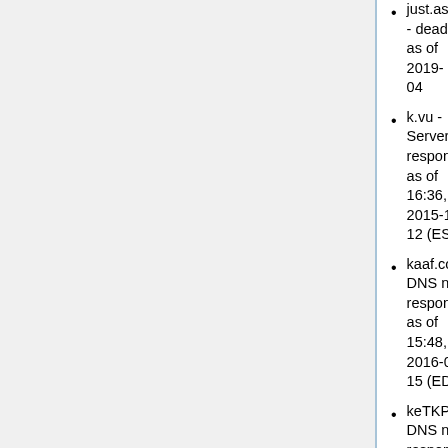just.as - dead as of 2019-04
k.vu - Server not responding as of 16:36, 2015-12-12 (EST)
kaaf.com - DNS not responding as of 15:48, 2016-05-15 (EDT)
keTKP.in - DNS not responding as of 01:26, 2015-12-07 (EST)
kisa.ch - Domain for sale as of 15:48, 2016-03-13 (EDT)
kissa.be - "Kissa.be url shortener service is shutdown"
kl.am - "kl.am Closes its Shell" (server not available as of 15:48, 2016-03-13 (EDT))
kly.so - DNS not responding as of 15:48, 2016-05-15 (EDT)
Kots.Nu - DNS not responding as of 01:26, 2015-12-07 (EST)
krunchd.com - redirects to a real estate site as of 00:58, 2016-06-15